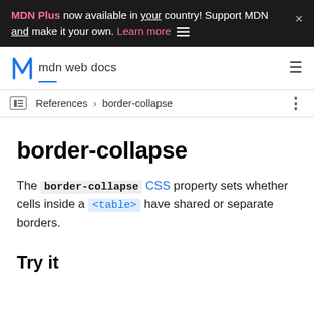MDN Plus now available in your country! Support MDN and make it your own. Learn more
mdn web docs
References > border-collapse
border-collapse
The border-collapse CSS property sets whether cells inside a <table> have shared or separate borders.
Try it